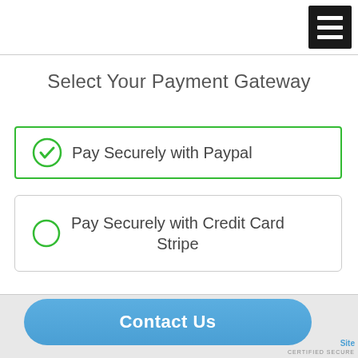[Figure (screenshot): Hamburger menu icon - three white horizontal bars on black background in top right corner]
Select Your Payment Gateway
Pay Securely with Paypal
Pay Securely with Credit Card Stripe
Contact Us
Site CERTIFIED SECURE